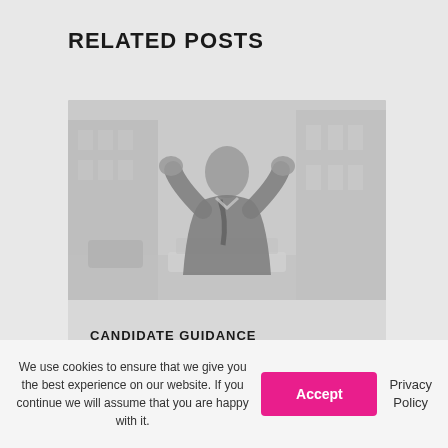RELATED POSTS
[Figure (photo): A businessman in a suit with fists raised in a triumphant gesture, sitting in front of a laptop on an urban street with blurred buildings in the background.]
CANDIDATE GUIDANCE
We use cookies to ensure that we give you the best experience on our website. If you continue we will assume that you are happy with it.
Accept
Privacy Policy